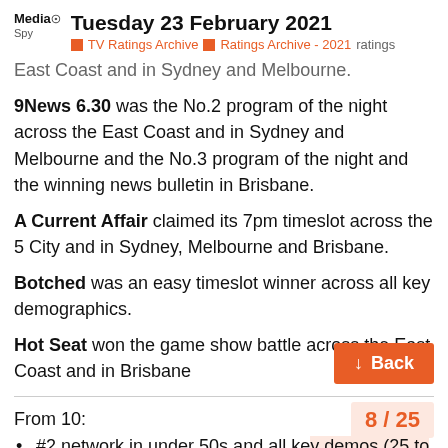Tuesday 23 February 2021 | TV Ratings Archive | Ratings Archive - 2021 ratings
East Coast and in Sydney and Melbourne.
9News 6.30 was the No.2 program of the night across the East Coast and in Sydney and Melbourne and the No.3 program of the night and the winning news bulletin in Brisbane.
A Current Affair claimed its 7pm timeslot across the 5 City and in Sydney, Melbourne and Brisbane.
Botched was an easy timeslot winner across all key demographics.
Hot Seat won the game show battle across the East Coast and in Brisbane
From 10:
#2 network in under 50s and all key demos (25 to 54s, 16 to 39s and 18 to 49s) .